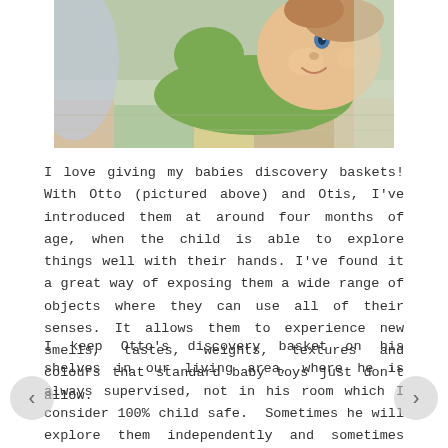[Figure (photo): Close-up photo of a baby wearing a green outfit, lying on a colourful mat, smiling and looking up.]
I love giving my babies discovery baskets! With Otto (pictured above) and Otis, I've introduced them at around four months of age, when the child is able to explore things well with their hands. I've found it a great way of exposing them a wide range of objects where they can use all of their senses. It allows them to experience new smells, tastes, weights, textures and colours that standard baby toys just don't allow.
I keep Otto's discovery basket on his shelves in our living area, where he is always supervised, not in his room which I consider 100% child safe. Sometimes he will explore them independently and sometimes while sitting in my lap. Otto is